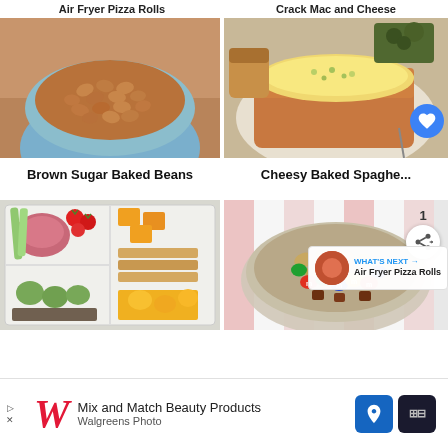Air Fryer Pizza Rolls
Crack Mac and Cheese
[Figure (photo): A blue bowl filled with brown sugar baked beans]
Brown Sugar Baked Beans
[Figure (photo): A plate of cheesy baked spaghetti with melted cheese on top, garnished with herbs, with bread on the side]
Cheesy Baked Spaghetti
[Figure (photo): A lunch box with compartments containing fruits, vegetables, crackers, cheese, and other snacks]
[Figure (photo): A bowl of trail mix with M&M candies, nuts, and chocolate pieces]
WHAT'S NEXT → Air Fryer Pizza Rolls
Mix and Match Beauty Products Walgreens Photo